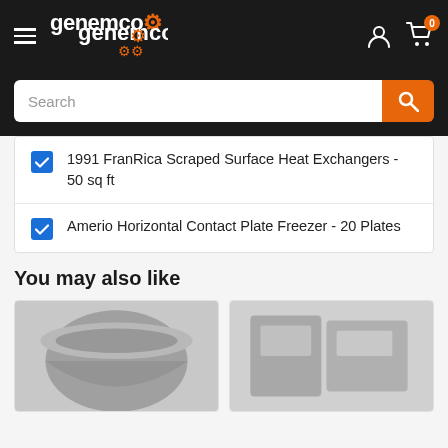genemco
1991 FranRica Scraped Surface Heat Exchangers - 50 sq ft
Amerio Horizontal Contact Plate Freezer - 20 Plates
You may also like
[Figure (photo): Product image of industrial mixing bowl or container]
[Figure (photo): Product image of industrial refrigeration or freezer equipment]